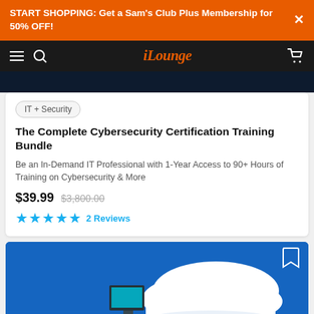START SHOPPING: Get a Sam's Club Plus Membership for 50% OFF!
iLounge
IT + Security
The Complete Cybersecurity Certification Training Bundle
Be an In-Demand IT Professional with 1-Year Access to 90+ Hours of Training on Cybersecurity & More
$39.99  $3,800.00  ★★★★★  2 Reviews
[Figure (illustration): Isometric cloud computing illustration showing a white cloud connected to various devices including a monitor, keyboard, router, smartphone, and network devices on a blue background with network connection lines.]